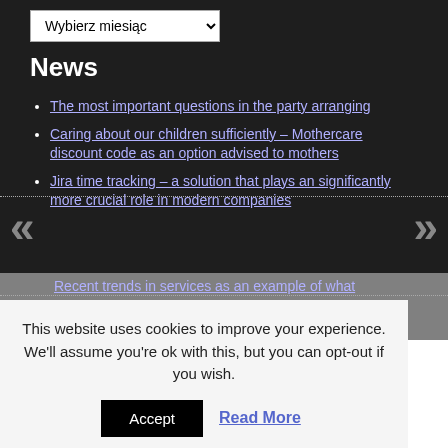[Figure (screenshot): Dropdown select element labeled 'Wybierz miesiąc' (Choose month in Polish)]
News
The most important questions in the party arranging
Caring about our children sufficiently – Mothercare discount code as an option advised to mothers
Jira time tracking – a solution that plays an significantly more crucial role in modern companies
Recent trends in services as an example of what information is needed in order to make appropriate strategic choices
This website uses cookies to improve your experience. We'll assume you're ok with this, but you can opt-out if you wish.
Accept | Read More